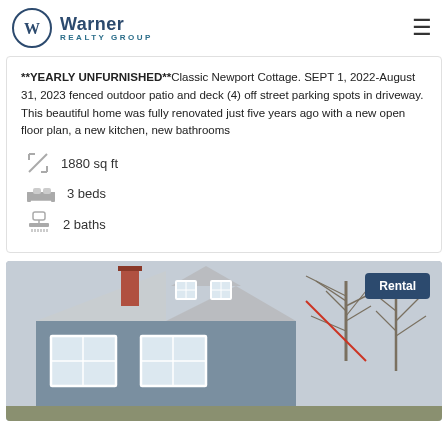[Figure (logo): Warner Realty Group logo with circular W emblem and hamburger menu icon]
**YEARLY UNFURNISHED**Classic Newport Cottage. SEPT 1, 2022-August 31, 2023 fenced outdoor patio and deck (4) off street parking spots in driveway. This beautiful home was fully renovated just five years ago with a new open floor plan, a new kitchen, new bathrooms
1880 sq ft
3 beds
2 baths
[Figure (photo): Exterior photo of a classic Newport cottage with blue-gray siding, white trim windows, and bare winter trees. A Rental badge appears in the upper right corner.]